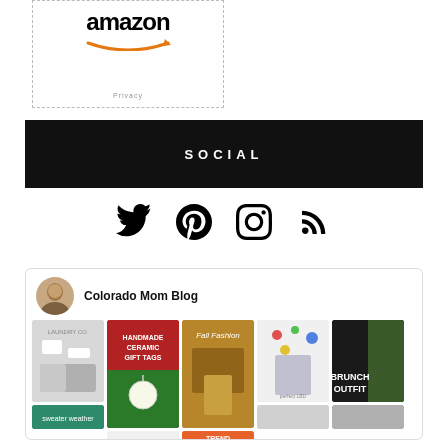[Figure (screenshot): Amazon widget with logo and Privacy label, shown in a dashed border box]
SOCIAL
[Figure (infographic): Social media icons: Twitter, Pinterest, Instagram, RSS feed]
[Figure (screenshot): Pinterest widget showing Colorado Mom Blog with profile photo and a grid of Pinterest pin images including laundry room, handmade ceramic gift tags, fall fashion, brunch outfit, and more]